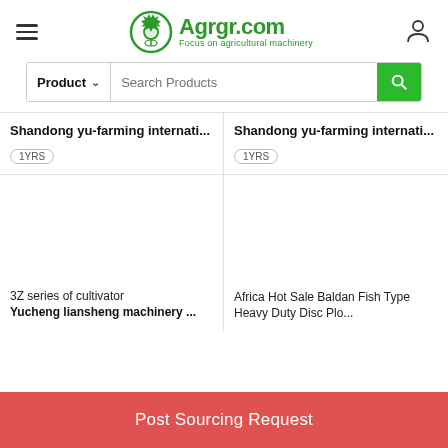[Figure (logo): Agrgr.com logo with gear icon and text 'Focus on agricultural machinery']
Search Products
Shandong yu-farming internati... 1YRS
Shandong yu-farming internati... 1YRS
[Figure (photo): Product image placeholder for 3Z series of cultivator]
3Z series of cultivator
Yucheng liansheng machinery ...
[Figure (photo): Product image placeholder for Africa Hot Sale Baldan Fish Type Heavy Duty Disc Plough]
Africa Hot Sale Baldan Fish Type Heavy Duty Disc Plo...
Post Sourcing Request